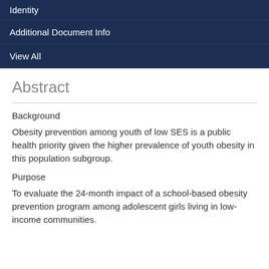Identity
Additional Document Info
View All
Abstract
Background
Obesity prevention among youth of low SES is a public health priority given the higher prevalence of youth obesity in this population subgroup.
Purpose
To evaluate the 24-month impact of a school-based obesity prevention program among adolescent girls living in low-income communities.